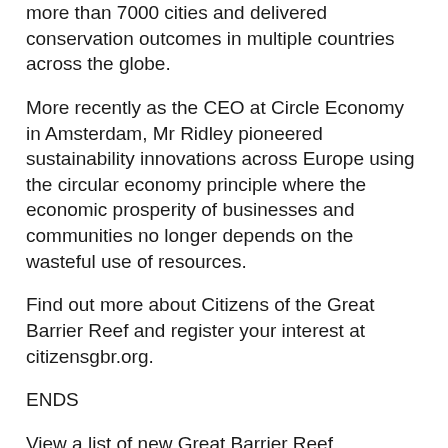more than 7000 cities and delivered conservation outcomes in multiple countries across the globe.
More recently as the CEO at Circle Economy in Amsterdam, Mr Ridley pioneered sustainability innovations across Europe using the circular economy principle where the economic prosperity of businesses and communities no longer depends on the wasteful use of resources.
Find out more about Citizens of the Great Barrier Reef and register your interest at citizensgbr.org.
ENDS
View a list of new Great Barrier Reef experiences here.
For more information, contact:
Liz Inglis Media & Communications
M: 0419 643 494 | E: liz@lizinglismedia.com